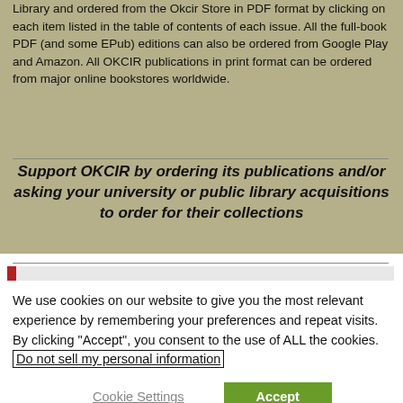Library and ordered from the Okcir Store in PDF format by clicking on each item listed in the table of contents of each issue. All the full-book PDF (and some EPub) editions can also be ordered from Google Play and Amazon. All OKCIR publications in print format can be ordered from major online bookstores worldwide.
Support OKCIR by ordering its publications and/or asking your university or public library acquisitions to order for their collections
SUBSCRIBE TO OKCIR'S NEWSLETTER
We use cookies on our website to give you the most relevant experience by remembering your preferences and repeat visits. By clicking "Accept", you consent to the use of ALL the cookies. Do not sell my personal information